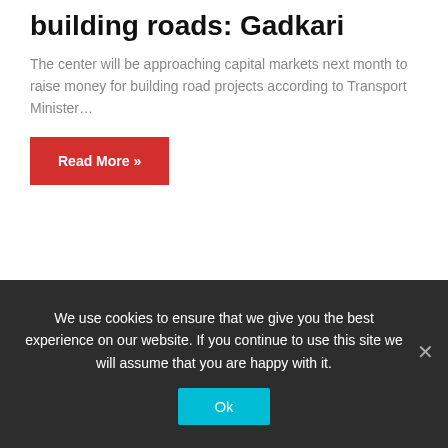building roads: Gadkari
The center will be approaching capital markets next month to raise money for building road projects according to Transport Minister…
Read More »
[Figure (other): Loading spinner icon (grey radial lines)]
Startups
We use cookies to ensure that we give you the best experience on our website. If you continue to use this site we will assume that you are happy with it.
Ok